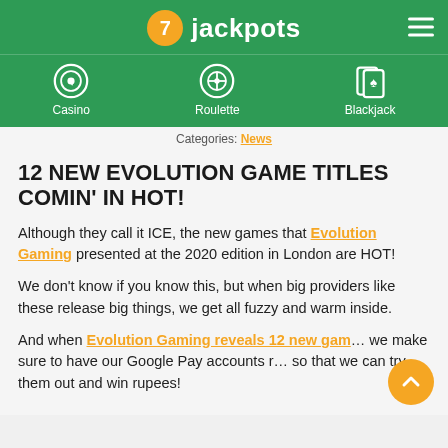7 jackpots — Casino, Roulette, Blackjack navigation
Categories: News
12 NEW EVOLUTION GAME TITLES COMIN' IN HOT!
Although they call it ICE, the new games that Evolution Gaming presented at the 2020 edition in London are HOT!
We don't know if you know this, but when big providers like these release big things, we get all fuzzy and warm inside.
And when Evolution Gaming reveals 12 new games, we make sure to have our Google Pay accounts ready so that we can try them out and win rupees!